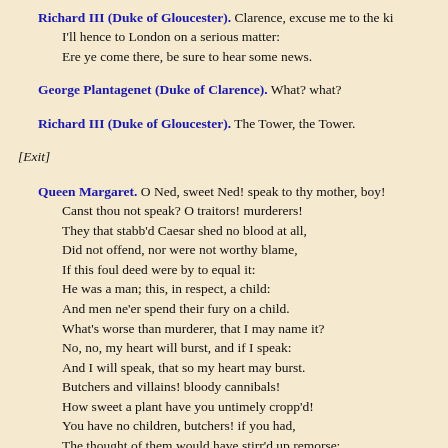Richard III (Duke of Gloucester). Clarence, excuse me to the king: I'll hence to London on a serious matter: Ere ye come there, be sure to hear some news.
George Plantagenet (Duke of Clarence). What? what?
Richard III (Duke of Gloucester). The Tower, the Tower.
[Exit]
Queen Margaret. O Ned, sweet Ned! speak to thy mother, boy! Canst thou not speak? O traitors! murderers! They that stabb'd Caesar shed no blood at all, Did not offend, nor were not worthy blame, If this foul deed were by to equal it: He was a man; this, in respect, a child: And men ne'er spend their fury on a child. What's worse than murderer, that I may name it? No, no, my heart will burst, and if I speak: And I will speak, that so my heart may burst. Butchers and villains! bloody cannibals! How sweet a plant have you untimely cropp'd! You have no children, butchers! if you had, The thought of them would have stirr'd up remorse: But if you ever chance to have a child, Look in his youth to have him so cut off